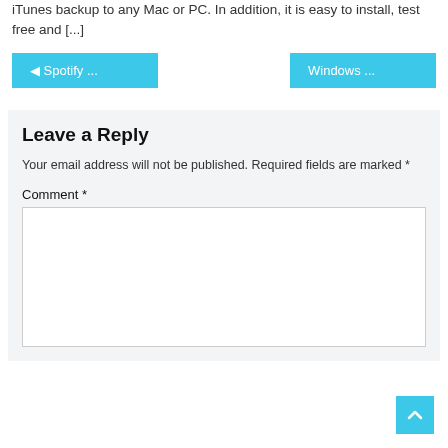iTunes backup to any Mac or PC. In addition, it is easy to install, test free and [...]
◄ Spotify ...
Windows ...
Leave a Reply
Your email address will not be published. Required fields are marked *
Comment *